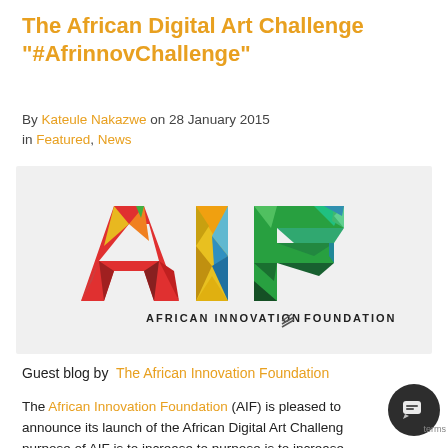The African Digital Art Challenge "#AfrinnovChallenge"
By Kateule Nakazwe on 28 January 2015 in Featured, News
[Figure (logo): African Innovation Foundation (AIF) logo — colorful geometric letters A, I, F made of triangular polygons in red, yellow, green, blue. Text below reads 'AFRICAN INNOVATION FOUNDATION' with a striped icon between words.]
Guest blog by The African Innovation Foundation
The African Innovation Foundation (AIF) is pleased to announce its launch of the African Digital Art Challenge purpose of AIF is to increase to purpose is to increase